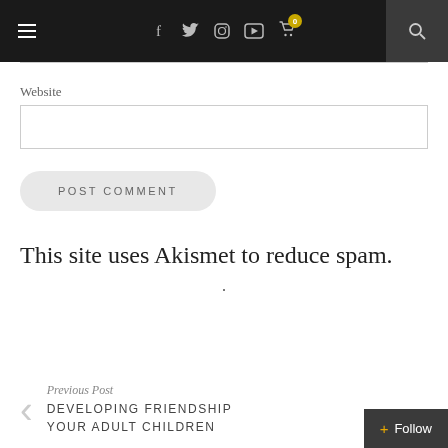Navigation bar with hamburger menu, social icons (Facebook, Twitter, Instagram, YouTube), cart with badge 0, and search
Website
POST COMMENT
This site uses Akismet to reduce spam.
.
Previous Post
DEVELOPING FRIENDSHIP YOUR ADULT CHILDREN